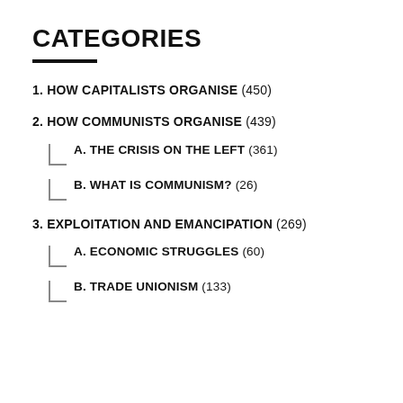CATEGORIES
1. HOW CAPITALISTS ORGANISE (450)
2. HOW COMMUNISTS ORGANISE (439)
A. THE CRISIS ON THE LEFT (361)
B. WHAT IS COMMUNISM? (26)
3. EXPLOITATION AND EMANCIPATION (269)
A. ECONOMIC STRUGGLES (60)
B. TRADE UNIONISM (133)